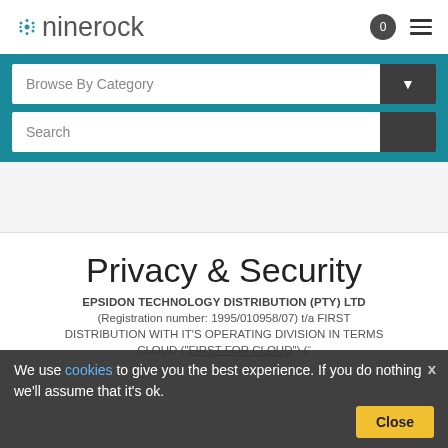ninerock
[Figure (screenshot): Ninerock website navigation with Browse By Category dropdown and Search bar on teal background]
Privacy & Security
EPSIDON TECHNOLOGY DISTRIBUTION (PTY) LTD
(Registration number: 1995/010958/07) t/a FIRST DISTRIBUTION WITH IT'S OPERATING DIVISION IN TERMS CLOUD ("FIRST FOR CLOUD") including all its associated companies and the
We use cookies to give you the best experience. If you do nothing we'll assume that it's ok.
Close